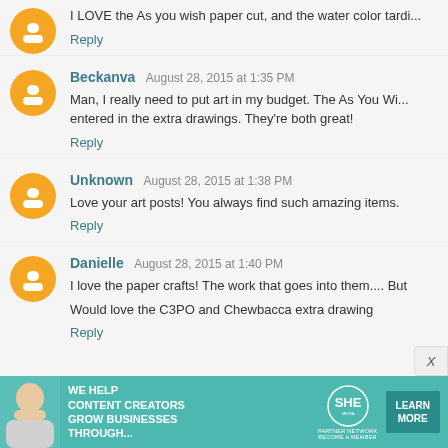I LOVE the As you wish paper cut, and the water color tardi...
Reply
Beckanva August 28, 2015 at 1:35 PM
Man, I really need to put art in my budget. The As You Wi... entered in the extra drawings. They're both great!
Reply
Unknown August 28, 2015 at 1:38 PM
Love your art posts! You always find such amazing items.
Reply
Danielle August 28, 2015 at 1:40 PM
I love the paper crafts! The work that goes into them.... But
Would love the C3PO and Chewbacca extra drawing
Reply
[Figure (infographic): SHE Partner Network advertisement banner: We help content creators grow businesses through...]